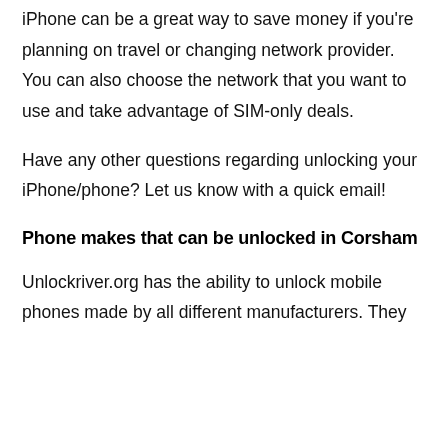iPhone can be a great way to save money if you're planning on travel or changing network provider. You can also choose the network that you want to use and take advantage of SIM-only deals.
Have any other questions regarding unlocking your iPhone/phone? Let us know with a quick email!
Phone makes that can be unlocked in Corsham
Unlockriver.org has the ability to unlock mobile phones made by all different manufacturers. They